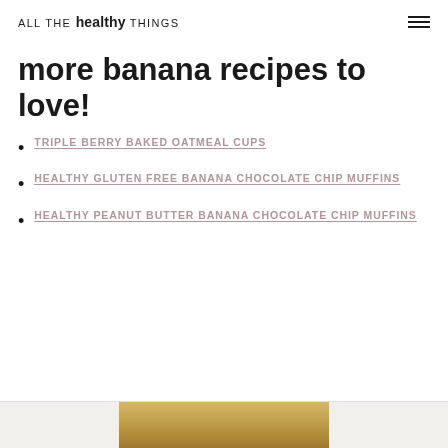ALL THE healthy THINGS
more banana recipes to love!
TRIPLE BERRY BAKED OATMEAL CUPS
HEALTHY GLUTEN FREE BANANA CHOCOLATE CHIP MUFFINS
HEALTHY PEANUT BUTTER BANANA CHOCOLATE CHIP MUFFINS
[Figure (photo): Partial food photo visible at bottom of page, tan/golden colored baked good]